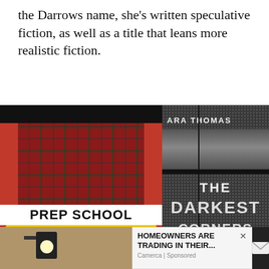the Darrows name, she's written speculative fiction, as well as a title that leans more realistic fiction.
[Figure (photo): Book cover of 'Prep School Confidential' showing a girl in a plaid skirt on a red background with yellow banner]
[Figure (photo): Book cover of 'The Darkest Corners' by Kara Thomas showing a dark halftone face with dripping ink text]
[Figure (photo): Bottom strip photo of an outdoor wall lantern on a stone wall]
HOMEOWNERS ARE TRADING IN THEIR...
Camerca | Sponsored